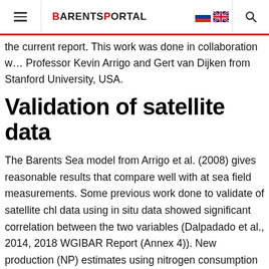BARENTSPORTAL
the current report. This work was done in collaboration with Professor Kevin Arrigo and Gert van Dijken from Stanford University, USA.
Validation of satellite data
The Barents Sea model from Arrigo et al. (2008) gives reasonable results that compare well with at sea field measurements. Some previous work done to validate of satellite chl data using in situ data showed significant correlation between the two variables (Dalpadado et al., 2014, 2018 WGIBAR Report (Annex 4)). New production (NP) estimates using nitrogen consumption (seasonal draw-down of nitrate in the water column) for the Fugløya-Bjørnøya (FB) and Vardø-Nord (VN) sections from March to June were comparable